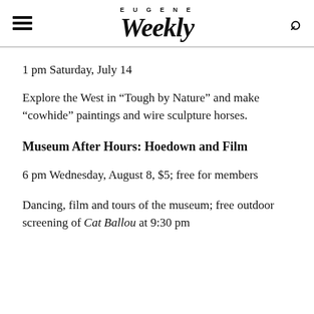EUGENE Weekly
1 pm Saturday, July 14
Explore the West in “Tough by Nature” and make “cowhide” paintings and wire sculpture horses.
Museum After Hours: Hoedown and Film
6 pm Wednesday, August 8, $5; free for members
Dancing, film and tours of the museum; free outdoor screening of Cat Ballou at 9:30 pm